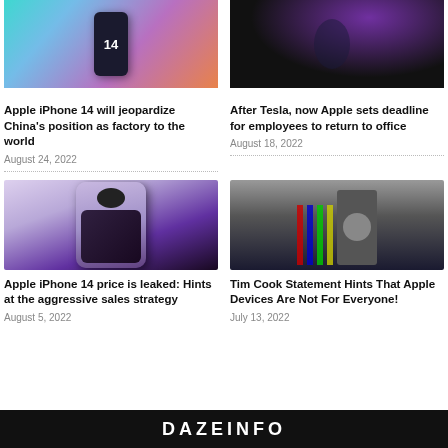[Figure (photo): Hand holding iPhone 14 with colorful gradient background showing number 14]
Apple iPhone 14 will jeopardize China's position as factory to the world
August 24, 2022
[Figure (photo): Apple executive on stage at dark event with colorful swirl graphic]
After Tesla, now Apple sets deadline for employees to return to office
August 18, 2022
[Figure (photo): Purple iPhone 14 Pro close-up showing camera module]
Apple iPhone 14 price is leaked: Hints at the aggressive sales strategy
August 5, 2022
[Figure (photo): Tim Cook speaking at event with colorful flags in background]
Tim Cook Statement Hints That Apple Devices Are Not For Everyone!
July 13, 2022
DAZEINFO